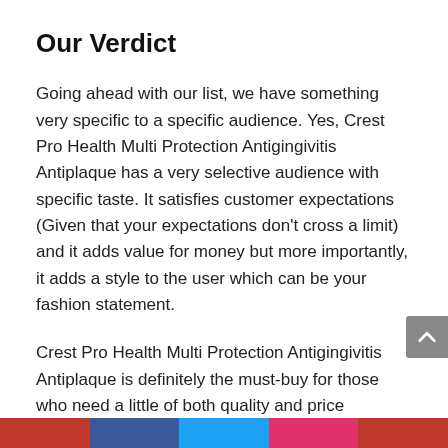Our Verdict
Going ahead with our list, we have something very specific to a specific audience. Yes, Crest Pro Health Multi Protection Antigingivitis Antiplaque has a very selective audience with specific taste. It satisfies customer expectations (Given that your expectations don't cross a limit) and it adds value for money but more importantly, it adds a style to the user which can be your fashion statement.
Crest Pro Health Multi Protection Antigingivitis Antiplaque is definitely the must-buy for those who need a little of both quality and price efficiency and as per our analysis, Crest Pro Health Multi Protection Antigingivitis Antiplaque easily gets